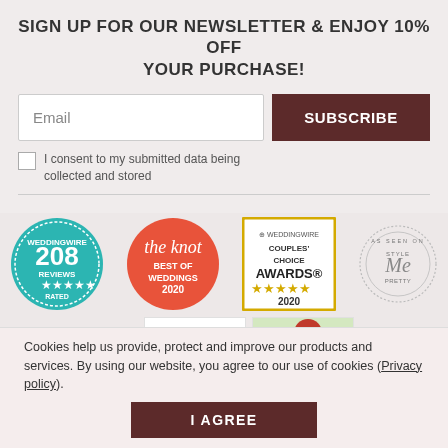SIGN UP FOR OUR NEWSLETTER & ENJOY 10% OFF YOUR PURCHASE!
Email
SUBSCRIBE
I consent to my submitted data being collected and stored
[Figure (logo): WeddingWire 208 Reviews Rated badge - teal circular badge]
[Figure (logo): The Knot Best of Weddings 2020 badge - orange/red circular badge]
[Figure (logo): WeddingWire Couples Choice Awards 2020 badge - yellow bordered square badge]
[Figure (logo): As Seen On Style Me Pretty circular stamp badge]
[Figure (logo): The (New York Times logo partial)]
[Figure (photo): Partial image with red/green figure]
Cookies help us provide, protect and improve our products and services. By using our website, you agree to our use of cookies (Privacy policy).
I AGREE